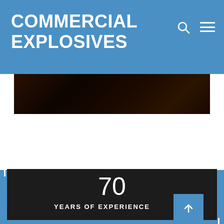COMMERCIAL EXPLOSIVES
[Figure (photo): Dark photo strip showing rubble or coal/rock material, dark brownish-black tones]
70
YEARS OF EXPERIENCE